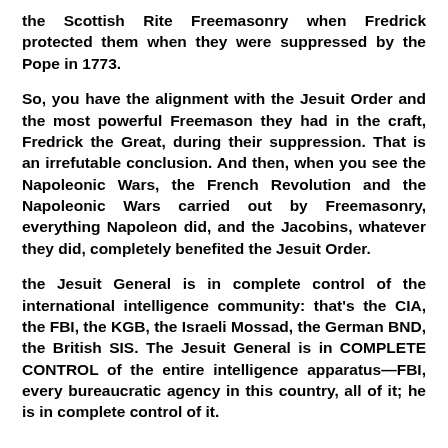the Scottish Rite Freemasonry when Fredrick protected them when they were suppressed by the Pope in 1773.
So, you have the alignment with the Jesuit Order and the most powerful Freemason they had in the craft, Fredrick the Great, during their suppression. That is an irrefutable conclusion. And then, when you see the Napoleonic Wars, the French Revolution and the Napoleonic Wars carried out by Freemasonry, everything Napoleon did, and the Jacobins, whatever they did, completely benefited the Jesuit Order.
the Jesuit General is in complete control of the international intelligence community: that's the CIA, the FBI, the KGB, the Israeli Mossad, the German BND, the British SIS. The Jesuit General is in COMPLETE CONTROL of the entire intelligence apparatus—FBI, every bureaucratic agency in this country, all of it; he is in complete control of it.